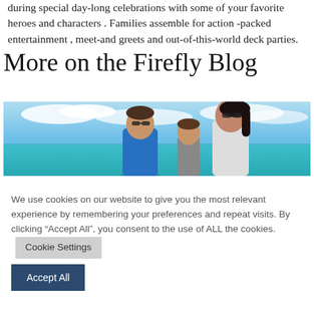during special day-long celebrations with some of your favorite heroes and characters . Families assemble for action -packed entertainment , meet-and greets and out-of-this-world deck parties.
More on the Firefly Blog
[Figure (photo): A family of three — a man in a blue shirt, a child, and a woman with sunglasses — at a tropical beach with turquoise water and a cloudy sky.]
We use cookies on our website to give you the most relevant experience by remembering your preferences and repeat visits. By clicking “Accept All”, you consent to the use of ALL the cookies.
Cookie Settings
Accept All